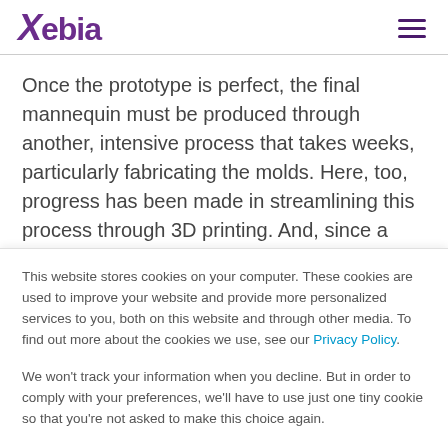Xebia
Once the prototype is perfect, the final mannequin must be produced through another, intensive process that takes weeks, particularly fabricating the molds. Here, too, progress has been made in streamlining this process through 3D printing. And, since a model can be sent digitally, there's an opportunity to install a 3D printer in a
This website stores cookies on your computer. These cookies are used to improve your website and provide more personalized services to you, both on this website and through other media. To find out more about the cookies we use, see our Privacy Policy.
We won't track your information when you decline. But in order to comply with your preferences, we'll have to use just one tiny cookie so that you're not asked to make this choice again.